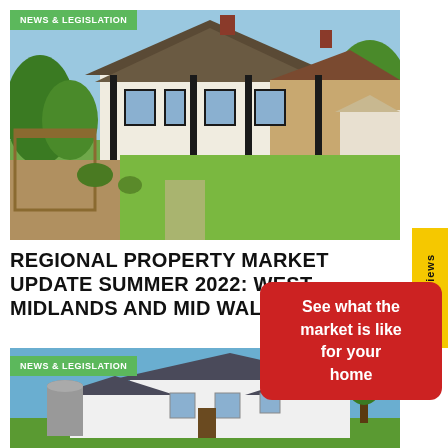[Figure (photo): Thatched cottage with large green lawn garden, white and black timber-framed English country house]
NEWS & LEGISLATION
REGIONAL PROPERTY MARKET UPDATE SUMMER 2022: WEST MIDLANDS AND MID WALES
See what the market is like for your home
[Figure (photo): Modern white detached house with blue sky background, second property photo]
NEWS & LEGISLATION